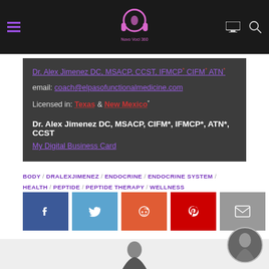Nuvo Voci 360 - navigation bar
Dr. Alex Jimenez DC, MSACP, CCST, IFMCP* CIFM* ATN*
email: coach@elpasofunctionalmedicine.com
Licensed in: Texas & New Mexico*
Dr. Alex Jimenez DC, MSACP, CIFM*, IFMCP*, ATN*, CCST
My Digital Business Card
BODY / DRALEXJIMENEZ / ENDOCRINE / ENDOCRINE SYSTEM / HEALTH / PEPTIDE / PEPTIDE THERAPY / WELLNESS
[Figure (infographic): Social share buttons: Facebook, Twitter, Reddit, Pinterest, Email]